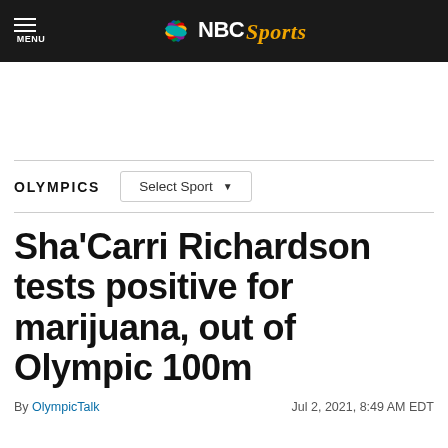NBC Sports — MENU
OLYMPICS   Select Sport
Sha’Carri Richardson tests positive for marijuana, out of Olympic 100m
By OlympicTalk   Jul 2, 2021, 8:49 AM EDT